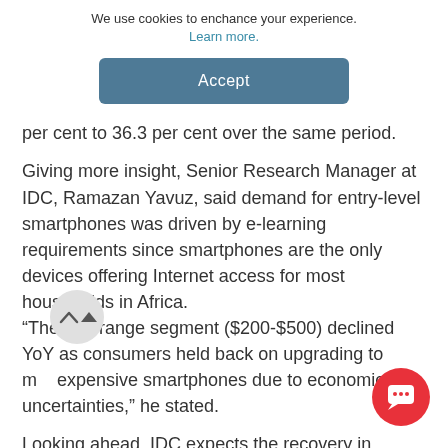We use cookies to enchance your experience. Learn more.
Accept
per cent to 36.3 per cent over the same period.
Giving more insight, Senior Research Manager at IDC, Ramazan Yavuz, said demand for entry-level smartphones was driven by e-learning requirements since smartphones are the only devices offering Internet access for most households in Africa. “The mid-range segment ($200-$500) declined YoY as consumers held back on upgrading to more expensive smartphones due to economic uncertainties,” he stated.
Looking ahead, IDC expects the recovery in